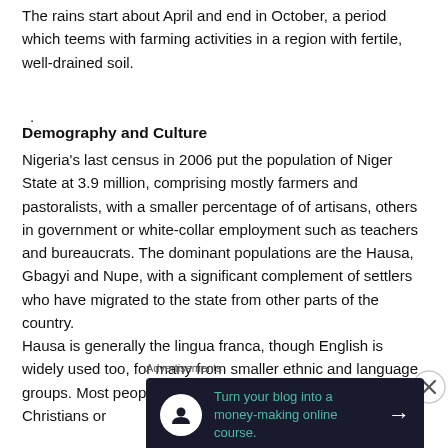The rains start about April and end in October, a period which teems with farming activities in a region with fertile, well-drained soil.
.
Demography and Culture
Nigeria's last census in 2006 put the population of Niger State at 3.9 million, comprising mostly farmers and pastoralists, with a smaller percentage of of artisans, others in government or white-collar employment such as teachers and bureaucrats. The dominant populations are the Hausa, Gbagyi and Nupe, with a significant complement of settlers who have migrated to the state from other parts of the country.
Hausa is generally the lingua franca, though English is widely used too, for many from smaller ethnic and language groups. Most people in the state are either Muslims or Christians or
Advertisements
[Figure (infographic): Dark advertisement banner: 'Turn your blog into a money-making online course.' with a person icon and arrow button]